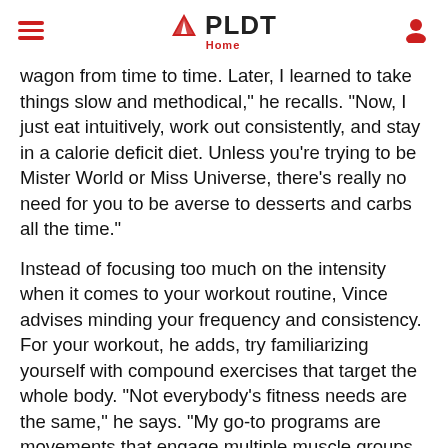PLDT Home
wagon from time to time. Later, I learned to take things slow and methodical," he recalls. "Now, I just eat intuitively, work out consistently, and stay in a calorie deficit diet. Unless you're trying to be Mister World or Miss Universe, there's really no need for you to be averse to desserts and carbs all the time."
Instead of focusing too much on the intensity when it comes to your workout routine, Vince advises minding your frequency and consistency. For your workout, he adds, try familiarizing yourself with compound exercises that target the whole body. "Not everybody's fitness needs are the same," he says. "My go-to programs are movements that engage multiple muscle groups at the same time, and thus make a good foundation for any program."